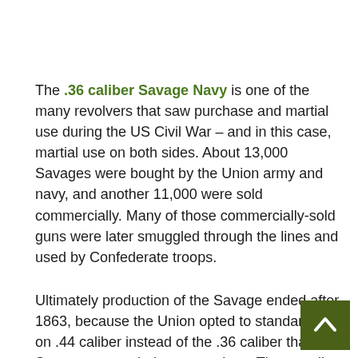The .36 caliber Savage Navy is one of the many revolvers that saw purchase and martial use during the US Civil War – and in this case, martial use on both sides. About 13,000 Savages were bought by the Union army and navy, and another 11,000 were sold commercially. Many of those commercially-sold guns were later smuggled through the lines and used by Confederate troops.
Ultimately production of the Savage ended after 1863, because the Union opted to standardize on .44 caliber instead of the .36 caliber that Savage was tooled up to produce. The retooling costs were too high for the company to change over, so they dropped the gun from production (it was already a tough sell to the military, at 35%-50% more expensive than competing Colt and Remington revolvers).